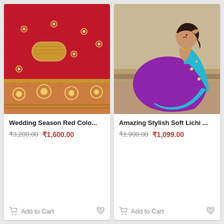[Figure (photo): Red silk saree with gold embroidery and brocade border, folded on a flat surface]
Wedding Season Red Colo...
₹3,200.00 ₹1,600.00
[Figure (photo): Woman wearing a blue and purple dual-tone silk saree, seated on steps in a posed fashion]
Amazing Stylish Soft Lichi ...
₹1,900.00 ₹1,099.00